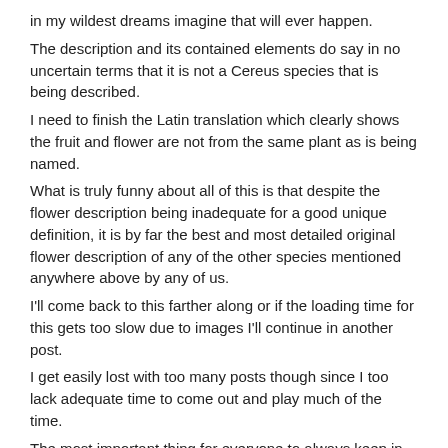in my wildest dreams imagine that will ever happen.
The description and its contained elements do say in no uncertain terms that it is not a Cereus species that is being described.
I need to finish the Latin translation which clearly shows the fruit and flower are not from the same plant as is being named.
What is truly funny about all of this is that despite the flower description being inadequate for a good unique definition, it is by far the best and most detailed original flower description of any of the other species mentioned anywhere above by any of us.
I'll come back to this farther along or if the loading time for this gets too slow due to images I'll continue in another post.
I get easily lost with too many posts though since I too lack adequate time to come out and play much of the time.
The most important thing for everyone to always keep in mind is that taxonomy is NOT a science.
It is a social and often political game of coming up with ways of talking about the same plants with the same names and defining how those plants might relate to each other.
It is a whole lot of opinions about what is significant or not even in terms of molecular systematics which is the only area I think is capable of becoming a true science. That could start a whole nother thread of course.